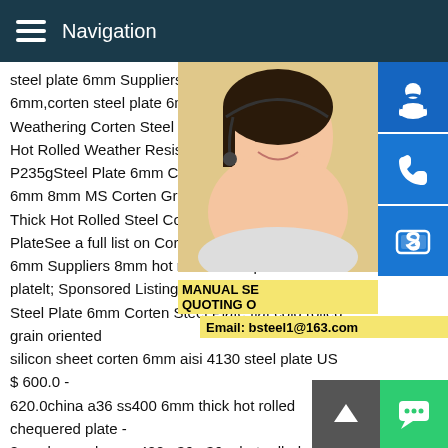Navigation
steel plate 6mm Suppliers Oct 21,2020 co 6mm,corten steel plate 6mm Suppliers Co Weathering Corten Steel Plate 6mm Thick Hot Rolled Weather Resistant Corten Stee P235gSteel Plate 6mm Corten Plate Corte 6mm 8mm MS Corten Grade StructurStee Thick Hot Rolled Steel Corten A Corten B PlateSee a full list on Corten Steel Plates 6mm Suppliers 8mm hot rolled steel plate platelt; Sponsored Listing Tags Corten Stee Steel Plate 6mm Corten Steel Plate flat cold rolled grain oriented silicon sheet corten 6mm aisi 4130 steel plate US $ 600.0 - 620.0china a36 ss400 6mm thick hot rolled chequered plate - 8mm low carbon ss400 a36 a36m hot rolled steel plate - JIS c a36 ss400 6mm thick hot rolled chequered plate.Astm a36 ho rolled 6mm plate sheet thealphagames eu a36 hot rolled carb
[Figure (photo): Customer service representative woman with headset smiling]
MANUAL SE QUOTING O
Email: bsteel1@163.com